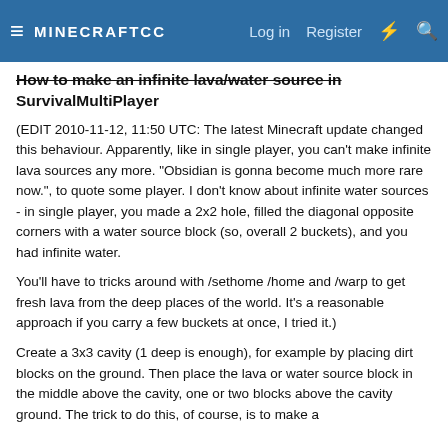MINECRAFTCC  Log in  Register
How to make an infinite lava/water source in SurvivalMultiPlayer
(EDIT 2010-11-12, 11:50 UTC: The latest Minecraft update changed this behaviour. Apparently, like in single player, you can't make infinite lava sources any more. "Obsidian is gonna become much more rare now.", to quote some player. I don't know about infinite water sources - in single player, you made a 2x2 hole, filled the diagonal opposite corners with a water source block (so, overall 2 buckets), and you had infinite water.
You'll have to tricks around with /sethome /home and /warp to get fresh lava from the deep places of the world. It's a reasonable approach if you carry a few buckets at once, I tried it.)
Create a 3x3 cavity (1 deep is enough), for example by placing dirt blocks on the ground. Then place the lava or water source block in the middle above the cavity, one or two blocks above the cavity ground. The trick to do this, of course, is to make a